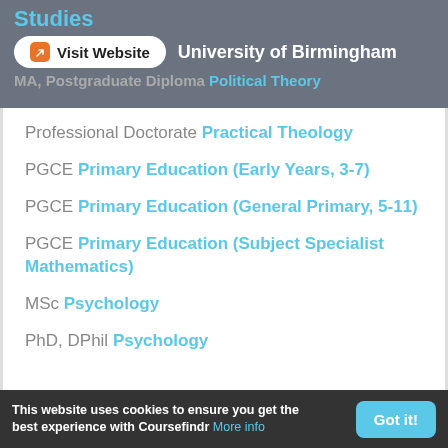Studies
Visit Website  University of Birmingham
MA, Postgraduate Diploma Political Theory
Professional Doctorate Practical Theology
PGCE Primary Education (Early Years, 3-7)
PGCE Primary Education (General Primary, 5-11)
PGCE Primary Education (Subject Specialist Mathematics)
MSc Psychology
PhD, DPhil Psychology
This website uses cookies to ensure you get the best experience with Coursefindr More info  Got it!